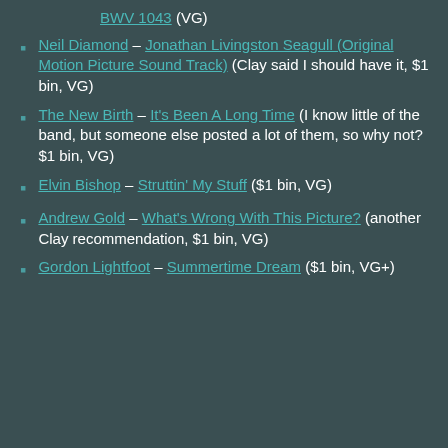BWV 1043 (VG)
Neil Diamond – Jonathan Livingston Seagull (Original Motion Picture Sound Track) (Clay said I should have it, $1 bin, VG)
The New Birth – It's Been A Long Time (I know little of the band, but someone else posted a lot of them, so why not? $1 bin, VG)
Elvin Bishop – Struttin' My Stuff ($1 bin, VG)
Andrew Gold – What's Wrong With This Picture? (another Clay recommendation, $1 bin, VG)
Gordon Lightfoot – Summertime Dream ($1 bin, VG+)